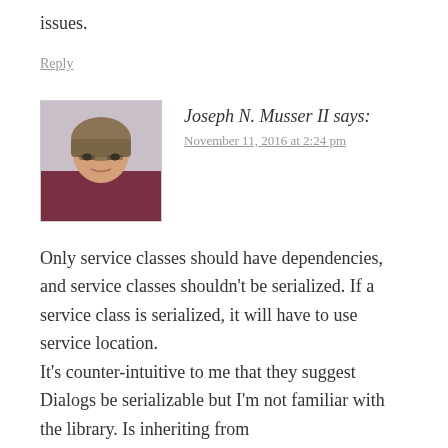issues.
Reply
Joseph N. Musser II says:
November 11, 2016 at 2:24 pm
Only service classes should have dependencies, and service classes shouldn't be serialized. If a service class is serialized, it will have to use service location.
It's counter-intuitive to me that they suggest Dialogs be serializable but I'm not familiar with the library. Is inheriting from